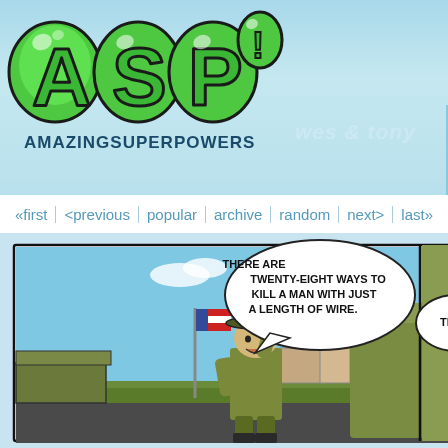[Figure (logo): Amazing Super Powers (ASP) logo — bubbly green cartoon letters on light blue header background]
wes & tony
«first | <previous | popular | archive | random | next> | last»
[Figure (illustration): Webcomic panel showing a military drill sergeant in green uniform and campaign hat, raising one fist, standing on a base with US flag in background, with speech bubble reading: THERE ARE TWENTY-EIGHT WAYS TO KILL A MAN WITH JUST A LENGTH OF WIRE. Second partial panel on right shows another character saying THI...]